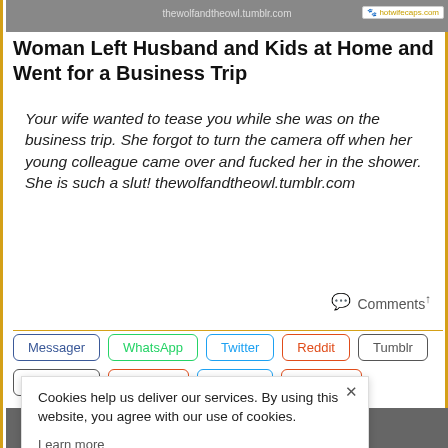[Figure (photo): Partial photo with watermark 'thewolfandtheowl.tumblr.com' and badge 'hotwifecaps.com']
Woman Left Husband and Kids at Home and Went for a Business Trip
Your wife wanted to tease you while she was on the business trip. She forgot to turn the camera off when her young colleague came over and fucked her in the shower. She is such a slut! thewolfandtheowl.tumblr.com
Comments↑
Messager | WhatsApp | Twitter | Reddit | Tumblr | Facebook | Pinterest | VK.com | Sex.com
[Figure (photo): Bottom partial photo with text overlay]
Cookies help us deliver our services. By using this website, you agree with our use of cookies.
Learn more